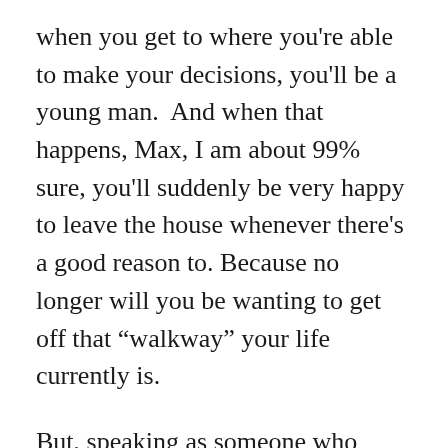when you get to where you're able to make your decisions, you'll be a young man.  And when that happens, Max, I am about 99% sure, you'll suddenly be very happy to leave the house whenever there's a good reason to. Because no longer will you be wanting to get off that “walkway” your life currently is.

But, speaking as someone who loves nothing more than lying on the floor in front of the fireplace while my best friend scratches my ears, I think you